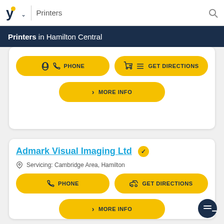Printers
Printers in Hamilton Central
[Figure (screenshot): Partial business listing card showing PHONE and GET DIRECTIONS yellow buttons, and a MORE INFO yellow button]
[Figure (screenshot): Business listing card for Admark Visual Imaging Ltd with verified badge, servicing Cambridge Area Hamilton, with PHONE, GET DIRECTIONS, and MORE INFO yellow action buttons]